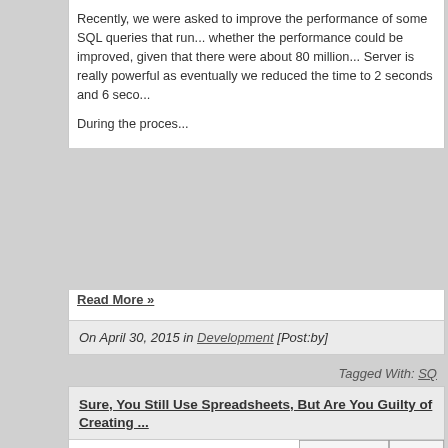Recently, we were asked to improve the performance of some SQL queries that run... whether the performance could be improved, given that there were about 80 million... Server is really powerful as eventually we reduced the time to 2 seconds and 6 seco...
During the proces...
Read More »
On April 30, 2015 in Development [Post:by]
Tagged With: SQ...
Sure, You Still Use Spreadsheets, But Are You Guilty of Creating ...
Yes, we've all been using spreadsheets for years (some of us, for decades now...) ... reconciling bank statements, even for complex risk-analyses.
While some industry pundits are extoling the virtues of a "spreadsheet-free&rdquo...
[Figure (photo): Partial view of a spreadsheet showing numbers: 4,31 / 20,34 / 154 / 12,40 / 8... / 13,70 / 2...]